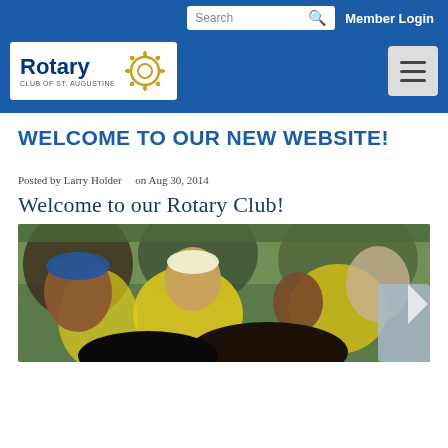Search  Member Login
[Figure (logo): Rotary Club of St. Augustine logo with gear icon on blue nav bar with hamburger menu button]
WELCOME TO OUR NEW WEBSITE!
Posted by Larry Holder   on Aug 30, 2014
Welcome to our Rotary Club!
[Figure (photo): Rotary volunteers in yellow vests and Polio Free India caps interacting with children outdoors]